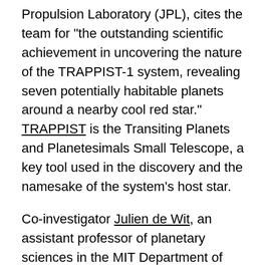Propulsion Laboratory (JPL), cites the team for "the outstanding scientific achievement in uncovering the nature of the TRAPPIST-1 system, revealing seven potentially habitable planets around a nearby cool red star." TRAPPIST is the Transiting Planets and Planetesimals Small Telescope, a key tool used in the discovery and the namesake of the system's host star.
Co-investigator Julien de Wit, an assistant professor of planetary sciences in the MIT Department of Earth, Atmospheric and Planetary Sciences (EAPS), accepted the award on Aug. 28 on behalf of the TRAPPIST-1 discovery team at an award ceremony held at JPL.